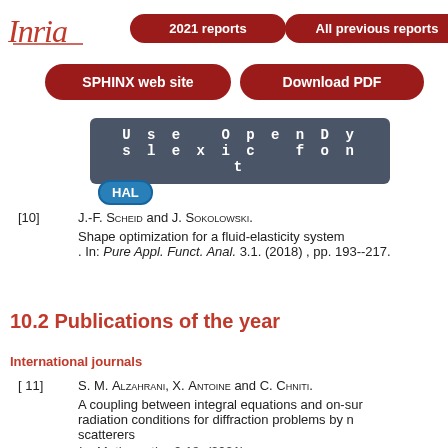[Figure (logo): Inria logo in red italic script]
2021 reports | All previous reports | SPHINX web site | Download PDF | Use OpenDyslexic font
[Figure (other): HAL badge/button in blue]
[10] J.-F. Scheid and J. Sokolowski. Shape optimization for a fluid-elasticity system. In: Pure Appl. Funct. Anal. 3.1. (2018), pp. 193--217.
10.2 Publications of the year
International journals
[11] S. M. Alzahrani, X. Antoine and C. Chniti. A coupling between integral equations and on-surface radiation conditions for diffraction problems by non-convex scatterers. In: Mathematics 9.18. (2021).